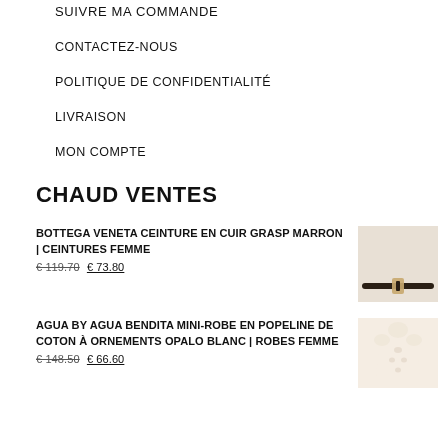SUIVRE MA COMMANDE
CONTACTEZ-NOUS
POLITIQUE DE CONFIDENTIALITÉ
LIVRAISON
MON COMPTE
CHAUD VENTES
BOTTEGA VENETA CEINTURE EN CUIR GRASP MARRON | CEINTURES FEMME
€ 119.70  € 73.80
[Figure (photo): Photo of a thin dark brown leather belt with a gold clasp on a light background]
AGUA BY AGUA BENDITA MINI-ROBE EN POPELINE DE COTON À ORNEMENTS OPALO BLANC | ROBES FEMME
€ 148.50  € 66.60
[Figure (photo): Photo of a white mini dress with puff sleeves and decorative embellishments on a light background]